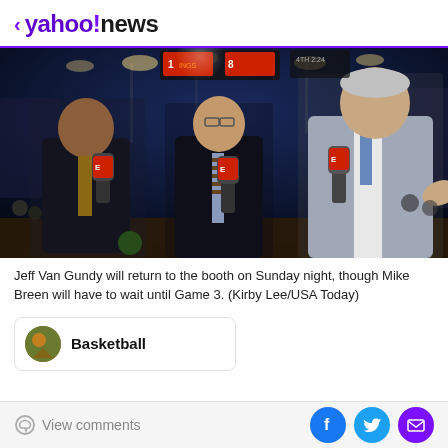< yahoo!news
[Figure (photo): Three ESPN broadcasters standing on an NBA basketball court arena floor holding ESPN microphones. Left: Black man in dark suit with patterned tie. Center: Man with glasses in dark suit with striped tie. Right: Tall older man in light gray suit gesturing while speaking. Arena scoreboard and crowd visible in background.]
Jeff Van Gundy will return to the booth on Sunday night, though Mike Breen will have to wait until Game 3. (Kirby Lee/USA Today)
Basketball
View comments